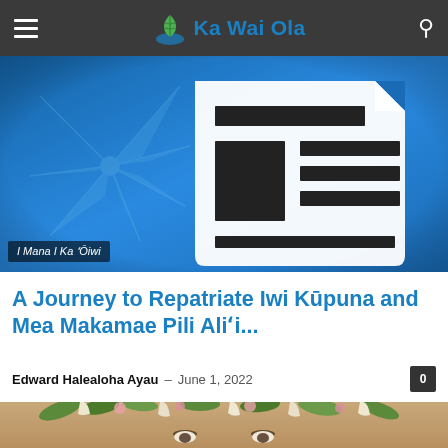Ka Wai Ola
[Figure (illustration): News article hero image with blue background featuring a hibiscus leaf pattern and a newspaper icon graphic, with overlay label reading 'I Mana I Ka ʻŌiwi']
A Journey to Repatriate Iwi Kūpuna and Mea Makamae Pili Aliʻi...
Edward Halealoha Ayau – June 1, 2022
[Figure (photo): A person wearing a floral lei headpiece, partially visible from the top of the frame]